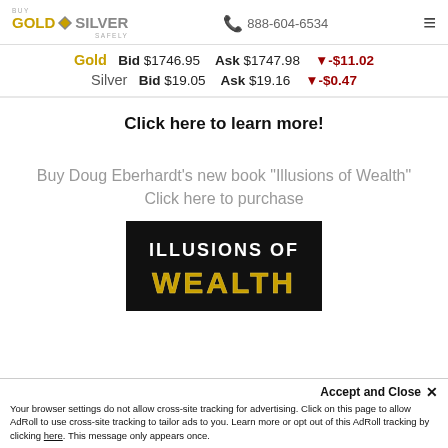Buy Gold & Silver Safely | 888-604-6534
Gold  Bid $1746.95  Ask $1747.98  ▼-$11.02
Silver  Bid $19.05  Ask $19.16  ▼-$0.47
Click here to learn more!
Buy Doug Eberhardt's new book "Illusions of Wealth"
Click here to purchase
[Figure (illustration): Book cover showing 'ILLUSIONS OF WEALTH' text in gold and white on black background]
Accept and Close ✕
Your browser settings do not allow cross-site tracking for advertising. Click on this page to allow AdRoll to use cross-site tracking to tailor ads to you. Learn more or opt out of this AdRoll tracking by clicking here. This message only appears once.